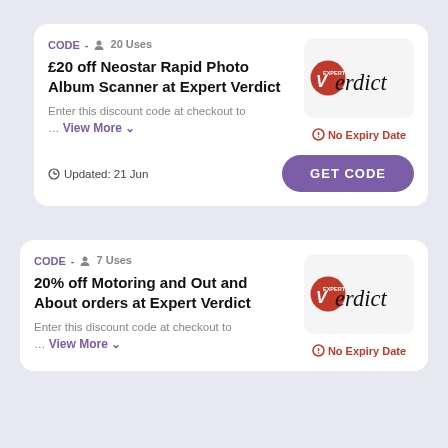CODE - 20 Uses
£20 off Neostar Rapid Photo Album Scanner at Expert Verdict
Enter this discount code at checkout to … View More
[Figure (logo): Expert Verdict logo - red oval with V and 'Verdict' text]
No Expiry Date
Updated: 21 Jun
GET CODE
CODE - 7 Uses
20% off Motoring and Out and About orders at Expert Verdict
Enter this discount code at checkout to … View More
[Figure (logo): Expert Verdict logo - red oval with V and 'Verdict' text]
No Expiry Date